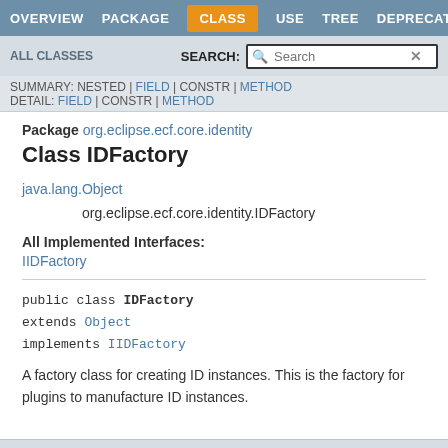OVERVIEW  PACKAGE  CLASS  USE  TREE  DEPRECATED
ALL CLASSES   SEARCH:
SUMMARY: NESTED | FIELD | CONSTR | METHOD
DETAIL: FIELD | CONSTR | METHOD
Package org.eclipse.ecf.core.identity
Class IDFactory
java.lang.Object
    org.eclipse.ecf.core.identity.IDFactory
All Implemented Interfaces:
IIDFactory
public class IDFactory
extends Object
implements IIDFactory
A factory class for creating ID instances. This is the factory for plugins to manufacture ID instances.